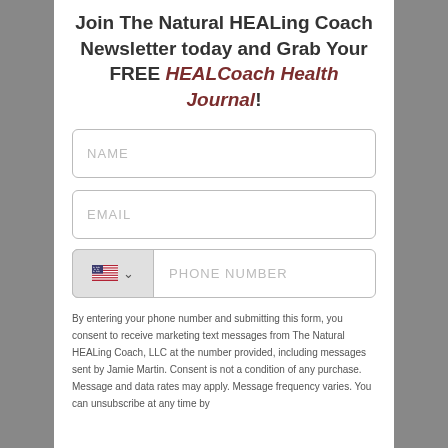Join The Natural HEALing Coach Newsletter today and Grab Your FREE HEALCoach Health Journal!
[Figure (screenshot): Web form with NAME, EMAIL, and PHONE NUMBER input fields with a US flag country selector dropdown]
By entering your phone number and submitting this form, you consent to receive marketing text messages from The Natural HEALing Coach, LLC at the number provided, including messages sent by Jamie Martin. Consent is not a condition of any purchase. Message and data rates may apply. Message frequency varies. You can unsubscribe at any time by